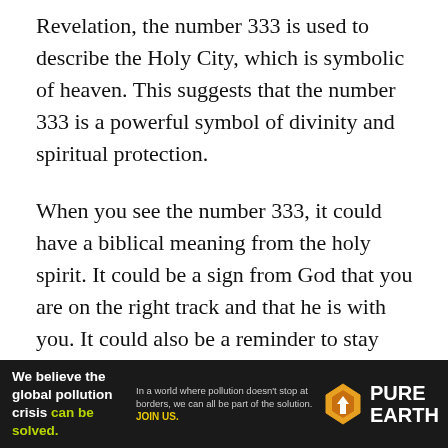Revelation, the number 333 is used to describe the Holy City, which is symbolic of heaven. This suggests that the number 333 is a powerful symbol of divinity and spiritual protection.
When you see the number 333, it could have a biblical meaning from the holy spirit. It could be a sign from God that you are on the right track and that he is with you. It could also be a reminder to stay true to your faith and trust in Jesus Christ or God's plan for your life.
The Holy Trinity
In The Bible, 333 is a representation of the Holy
[Figure (infographic): Advertisement banner for Pure Earth. Left text: 'We believe the global pollution crisis can be solved.' (with 'can be solved.' in green/yellow). Middle text: 'In a world where pollution doesn't stop at borders, we can all be part of the solution.' followed by 'JOIN US.' in yellow. Right side shows Pure Earth logo (orange/yellow diamond with downward arrow) and 'PURE EARTH' text in white.]